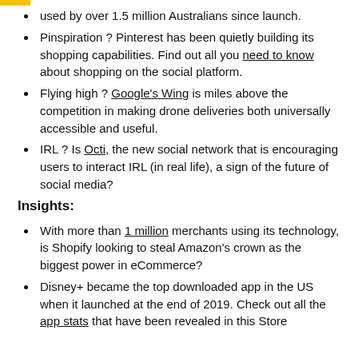used by over 1.5 million Australians since launch.
Pinspiration ? Pinterest has been quietly building its shopping capabilities. Find out all you need to know about shopping on the social platform.
Flying high ? Google's Wing is miles above the competition in making drone deliveries both universally accessible and useful.
IRL ? Is Octi, the new social network that is encouraging users to interact IRL (in real life), a sign of the future of social media?
Insights:
With more than 1 million merchants using its technology, is Shopify looking to steal Amazon's crown as the biggest power in eCommerce?
Disney+ became the top downloaded app in the US when it launched at the end of 2019. Check out all the app stats that have been revealed in this Store